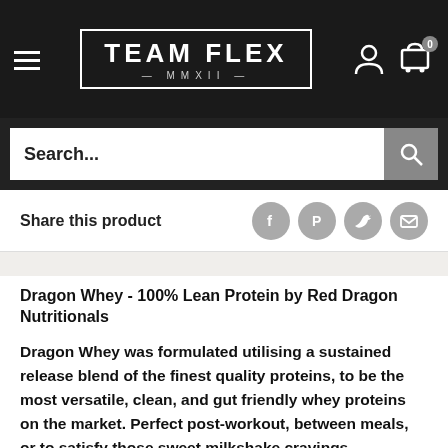[Figure (logo): Team Flex MMXII logo in white text within a rectangular border on dark background, with hamburger menu icon on left and user/cart icons on right]
[Figure (screenshot): Search bar with 'Search...' placeholder text and a gray search button with magnifying glass icon]
Share this product
[Figure (infographic): Social share icons: Facebook, Pinterest, Twitter, Email (circular gray buttons)]
Dragon Whey - 100% Lean Protein by Red Dragon Nutritionals
Dragon Whey was formulated utilising a sustained release blend of the finest quality proteins, to be the most versatile, clean, and gut friendly whey proteins on the market. Perfect post-workout, between meals, or to satisfy those sweet milkshake cravings.
Our versatile blend makes it the ideal addition to your oats, smoothies, or making protein snacks with, leaving no chalky textures